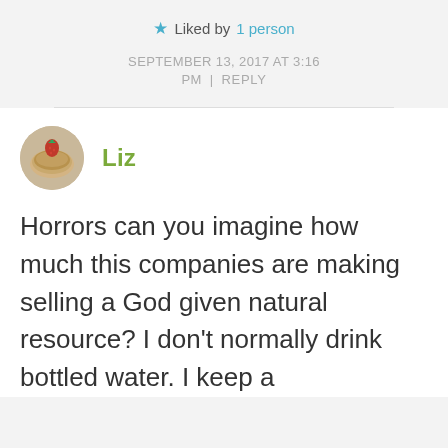★ Liked by 1 person
SEPTEMBER 13, 2017 AT 3:16 PM | REPLY
Liz
Horrors can you imagine how much this companies are making selling a God given natural resource? I don't normally drink bottled water. I keep a